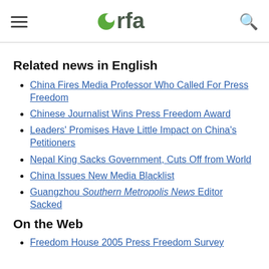RFA logo header with hamburger menu and search icon
Related news in English
China Fires Media Professor Who Called For Press Freedom
Chinese Journalist Wins Press Freedom Award
Leaders' Promises Have Little Impact on China's Petitioners
Nepal King Sacks Government, Cuts Off from World
China Issues New Media Blacklist
Guangzhou Southern Metropolis News Editor Sacked
On the Web
Freedom House 2005 Press Freedom Survey